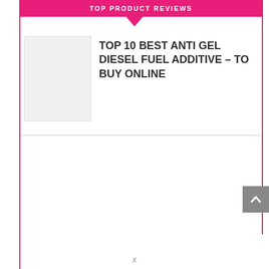TOP PRODUCT REVIEWS
[Figure (photo): Small product thumbnail image placeholder, gray rectangle]
TOP 10 BEST ANTI GEL DIESEL FUEL ADDITIVE – TO BUY ONLINE